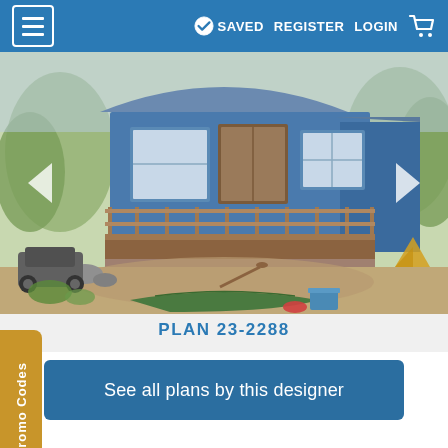≡  SAVED  REGISTER  LOGIN  🛒
[Figure (illustration): Illustrated rendering of a small blue cottage-style house with a wood deck, surrounded by trees, rocks, a canoe and outdoor equipment. Navigation arrows on left and right.]
PLAN 23-2288
See all plans by this designer
Promo Codes